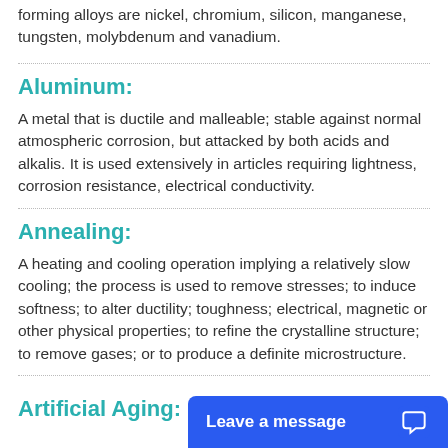forming alloys are nickel, chromium, silicon, manganese, tungsten, molybdenum and vanadium.
Aluminum:
A metal that is ductile and malleable; stable against normal atmospheric corrosion, but attacked by both acids and alkalis. It is used extensively in articles requiring lightness, corrosion resistance, electrical conductivity.
Annealing:
A heating and cooling operation implying a relatively slow cooling; the process is used to remove stresses; to induce softness; to alter ductility; toughness; electrical, magnetic or other physical properties; to refine the crystalline structure; to remove gases; or to produce a definite microstructure.
Artificial Aging: